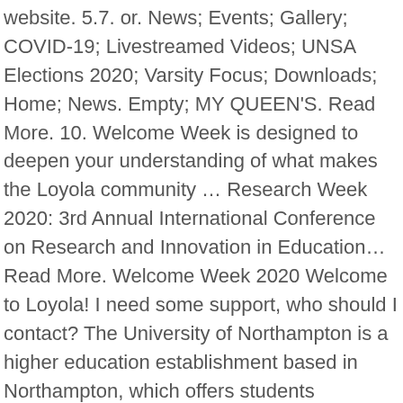website. 5.7. or. News; Events; Gallery; COVID-19; Livestreamed Videos; UNSA Elections 2020; Varsity Focus; Downloads; Home; News. Empty; MY QUEEN'S. Read More. 10. Welcome Week is designed to deepen your understanding of what makes the Loyola community … Research Week 2020: 3rd Annual International Conference on Research and Innovation in Education… Read More. Welcome Week 2020 Welcome to Loyola! I need some support, who should I contact? The University of Northampton is a higher education establishment based in Northampton, which offers students undergraduate and postgraduate courses and university degrees. 0. 17. C'est par ici . Rendez-vous le 30 novembre 2020 pour découvrir le 4e épisode de la série « Les bons gestes, les bons réflexes » du Conseil régional des jeunes.